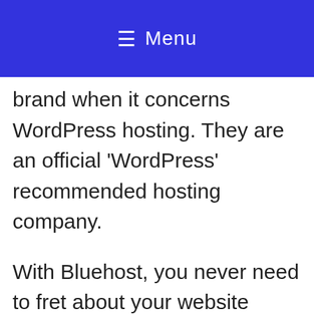≡ Menu
brand when it concerns WordPress hosting. They are an official 'WordPress' recommended hosting company.
With Bluehost, you never need to fret about your website being slow even when there is a lot of web traffic. Their 24/7 expert assistance is constantly there to aid when you require it by phone, email, or live conversation. They are rated # 1 in web hosting for small